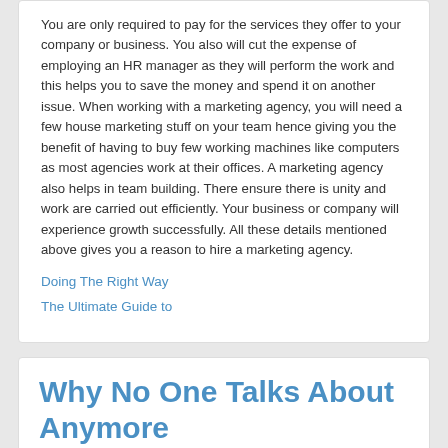You are only required to pay for the services they offer to your company or business. You also will cut the expense of employing an HR manager as they will perform the work and this helps you to save the money and spend it on another issue. When working with a marketing agency, you will need a few house marketing stuff on your team hence giving you the benefit of having to buy few working machines like computers as most agencies work at their offices. A marketing agency also helps in team building. There ensure there is unity and work are carried out efficiently. Your business or company will experience growth successfully. All these details mentioned above gives you a reason to hire a marketing agency.
Doing The Right Way
The Ultimate Guide to
Why No One Talks About Anymore
February 11, 2020  Clothing & Fashion  Comments Off  admin